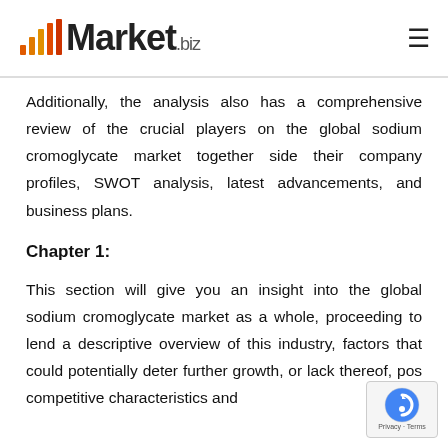Market.biz
Additionally, the analysis also has a comprehensive review of the crucial players on the global sodium cromoglycate market together side their company profiles, SWOT analysis, latest advancements, and business plans.
Chapter 1:
This section will give you an insight into the global sodium cromoglycate market as a whole, proceeding to lend a descriptive overview of this industry, factors that could potentially deter further growth, or lack thereof, pos... competitive characteristics and...